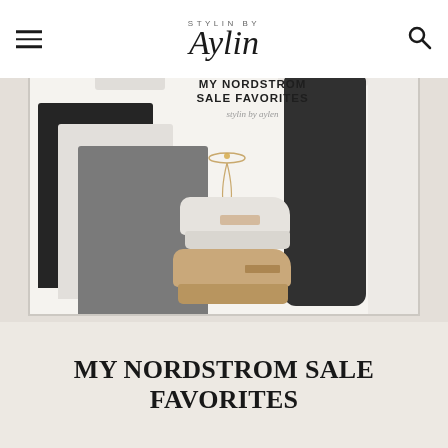STYLIN BY Aylin
[Figure (photo): Fashion collage showing tank tops (black, white, gray), dark jogger pants, white and tan sneakers, gold necklace jewelry, and white tops. Text overlay reads 'MY NORDSTROM SALE FAVORITES' with 'stylin by aylen' script logo.]
MY NORDSTROM SALE FAVORITES